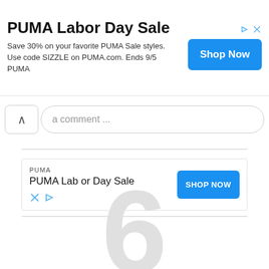[Figure (screenshot): Top advertisement banner for PUMA Labor Day Sale with 'Shop Now' blue button and ad icons in top right corner]
a comment ...
[Figure (screenshot): Middle advertisement banner showing PUMA brand, PUMA Labor Day Sale title, SHOP NOW blue button, and X/ad icons]
6